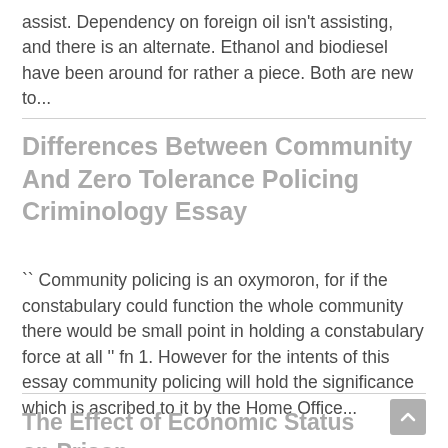assist. Dependency on foreign oil isn't assisting, and there is an alternate. Ethanol and biodiesel have been around for rather a piece. Both are new to...
Differences Between Community And Zero Tolerance Policing Criminology Essay
`` Community policing is an oxymoron, for if the constabulary could function the whole community there would be small point in holding a constabulary force at all " fn 1. However for the intents of this essay community policing will hold the significance which is ascribed to it by the Home Office...
The Effect of Economic Status on Prison